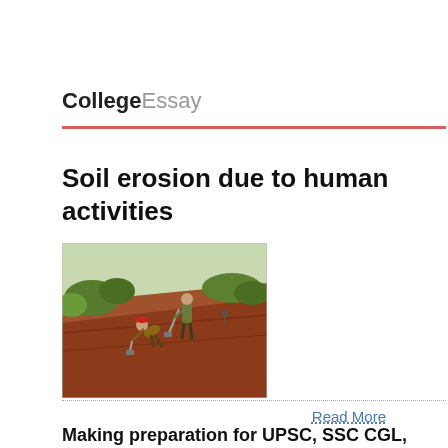CollegeEssay
Soil erosion due to human activities
[Figure (photo): Two workers digging on a steep eroded hillside with exposed red-brown soil; green vegetation visible in upper background.]
Read More
Making preparation for UPSC, SSC CGL, NDA, CDS easier and crispier